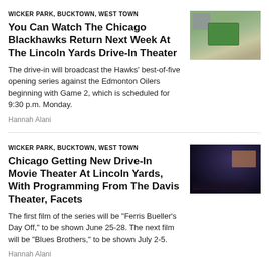WICKER PARK, BUCKTOWN, WEST TOWN
You Can Watch The Chicago Blackhawks Return Next Week At The Lincoln Yards Drive-In Theater
The drive-in will broadcast the Hawks' best-of-five opening series against the Edmonton Oilers beginning with Game 2, which is scheduled for 9:30 p.m. Monday.
Hannah Alani
[Figure (photo): Aerial view of Lincoln Yards Drive-In Theater with a sports field visible]
WICKER PARK, BUCKTOWN, WEST TOWN
Chicago Getting New Drive-In Movie Theater At Lincoln Yards, With Programming From The Davis Theater, Facets
The first film of the series will be "Ferris Bueller's Day Off," to be shown June 25-28. The next film will be "Blues Brothers," to be shown July 2-5.
Hannah Alani
[Figure (photo): Night time view of an outdoor drive-in movie theater with screen lit up and cars]